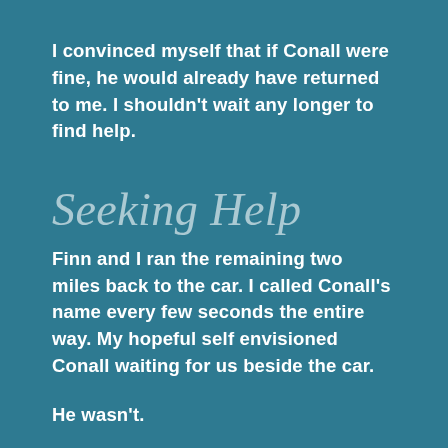I convinced myself that if Conall were fine, he would already have returned to me. I shouldn't wait any longer to find help.
Seeking Help
Finn and I ran the remaining two miles back to the car. I called Conall's name every few seconds the entire way. My hopeful self envisioned Conall waiting for us beside the car.
He wasn't.
Finn and I drove the two miles home, where I have wi-fi cell phone reception. (There's no cell signal